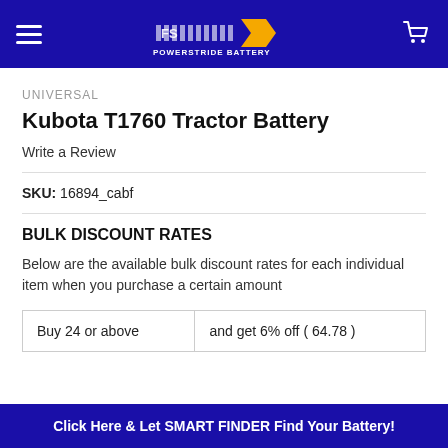Powerstride Battery
UNIVERSAL
Kubota T1760 Tractor Battery
Write a Review
SKU: 16894_cabf
BULK DISCOUNT RATES
Below are the available bulk discount rates for each individual item when you purchase a certain amount
| Buy 24 or above | and get 6% off ( 64.78 ) |
Click Here & Let SMART FINDER Find Your Battery!